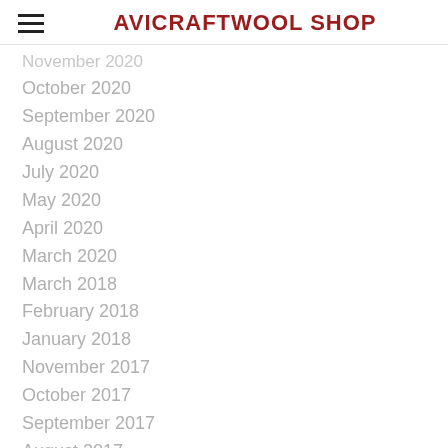AVICRAFTWOOL SHOP
November 2020
October 2020
September 2020
August 2020
July 2020
May 2020
April 2020
March 2020
March 2018
February 2018
January 2018
November 2017
October 2017
September 2017
August 2017
June 2017
May 2017
April 2017
March 2017